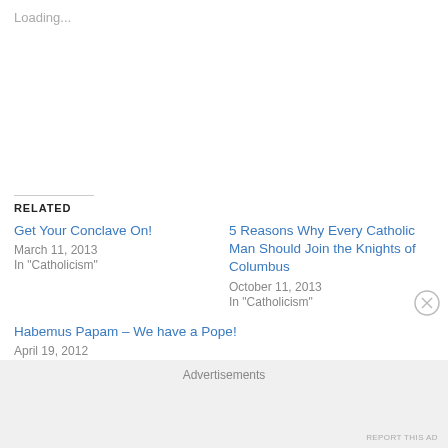Loading...
RELATED
Get Your Conclave On!
March 11, 2013
In "Catholicism"
5 Reasons Why Every Catholic Man Should Join the Knights of Columbus
October 11, 2013
In "Catholicism"
Habemus Papam – We have a Pope!
April 19, 2012
In "Pope Benedict XVI"
Advertisements
REPORT THIS AD